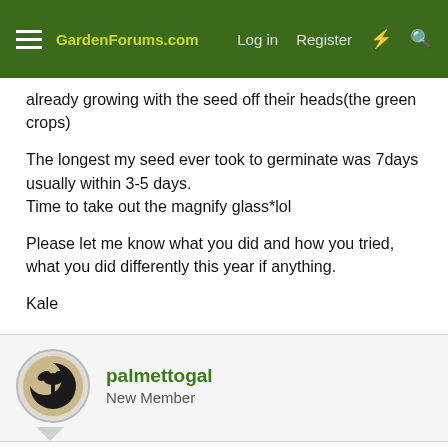GardenForums.com | Log in | Register
already growing with the seed off their heads(the green crops)

The longest my seed ever took to germinate was 7days usually within 3-5 days.
Time to take out the magnify glass*lol

Please let me know what you did and how you tried, what you did differently this year if anything.

Kale
palmettogal
New Member
Apr 22, 2009  #13
I saw one lonely tomato on a Better Boy but sacrificed it for what I hope will be better production later. Hard thing to do, though. Nothing in the world beats a fresh juicy tomato slathered with